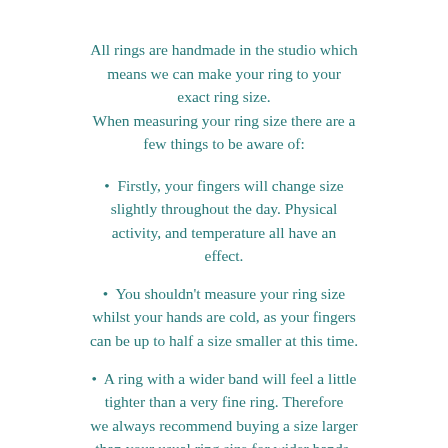All rings are handmade in the studio which means we can make your ring to your exact ring size. When measuring your ring size there are a few things to be aware of:
Firstly, your fingers will change size slightly throughout the day. Physical activity, and temperature all have an effect.
You shouldn't measure your ring size whilst your hands are cold, as your fingers can be up to half a size smaller at this time.
A ring with a wider band will feel a little tighter than a very fine ring. Therefore we always recommend buying a size larger than your usual ring size for wider bands.